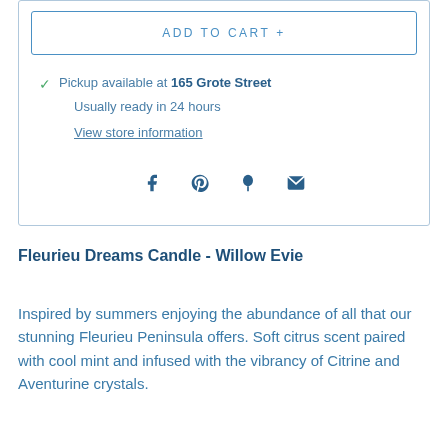ADD TO CART +
Pickup available at 165 Grote Street
Usually ready in 24 hours
View store information
[Figure (infographic): Social sharing icons: Facebook, Pinterest, Fancy/bookmark, Email]
Fleurieu Dreams Candle - Willow Evie
Inspired by summers enjoying the abundance of all that our stunning Fleurieu Peninsula offers. Soft citrus scent paired with cool mint and infused with the vibrancy of Citrine and Aventurine crystals.